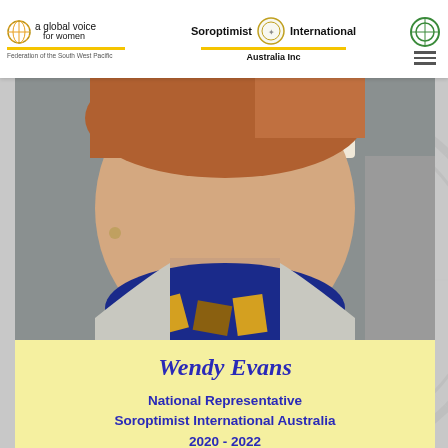[Figure (logo): Soroptimist International Federation of the South West Pacific header logo with 'a global voice for women' text, yellow bar, central emblem, 'Soroptimist International Australia Inc' text, green circular emblem, and hamburger menu icon]
[Figure (photo): Close-up photo of a smiling woman (Wendy Evans) with auburn hair, wearing a colorful scarf in blue, yellow, and gold patterns, with a light grey jacket]
Wendy Evans
National Representative Soroptimist International Australia 2020 - 2022
I became a member of Soroptimist International in Devonport in 1999 before transferring to Hobart in 2001.
I have held various club positions